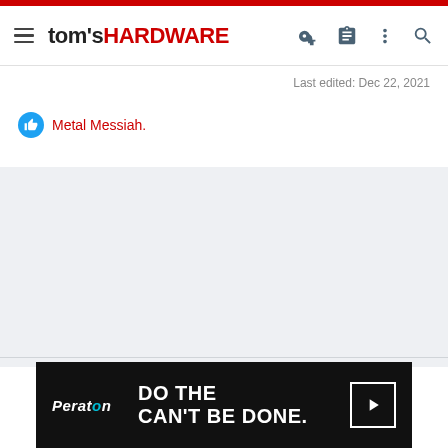tom's HARDWARE
Last edited: Dec 22, 2021
Metal Messiah.
[Figure (other): Gray placeholder content area]
[Figure (other): Peraton advertisement banner: DO THE CAN'T BE DONE.]